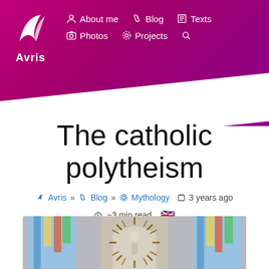Avris — About me | Blog | Texts | Photos | Projects
The catholic polytheism
Avris » Blog » Mythology  3 years ago  ~3 min read
[Figure (photo): Interior of a Catholic church with stained glass windows and a central religious statue surrounded by rays]